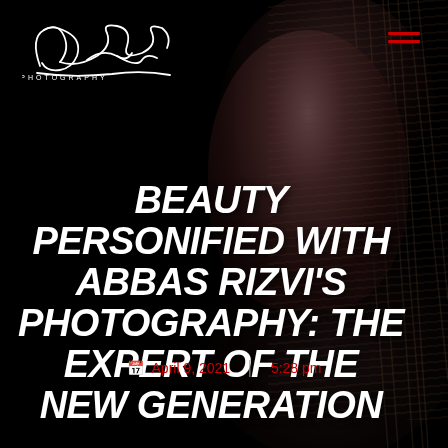[Figure (logo): Abbas Rizvi Photography cursive signature logo in white on black background]
[Figure (illustration): Dark hamburger menu icon with two red horizontal lines, top-right corner]
[Figure (photo): Dark, moody portrait of a woman with long hair, serving as background image on right side of page]
BEAUTY PERSONIFIED WITH ABBAS RIZVI'S PHOTOGRAPHY: THE EXPERT OF THE NEW GENERATION
April 9, 2021   5:28 pm